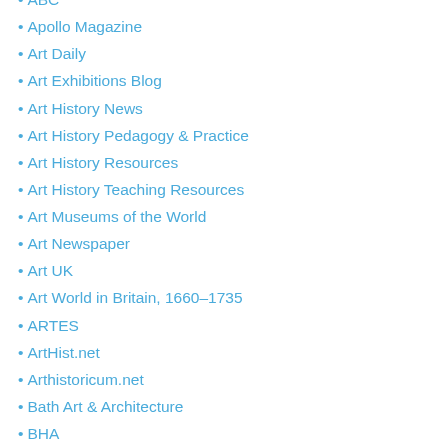• ABC
• Apollo Magazine
• Art Daily
• Art Exhibitions Blog
• Art History News
• Art History Pedagogy & Practice
• Art History Resources
• Art History Teaching Resources
• Art Museums of the World
• Art Newspaper
• Art UK
• Art World in Britain, 1660–1735
• ARTES
• ArtHist.net
• Arthistoricum.net
• Bath Art & Architecture
• BHA
• Blake Archive
• Blake: An Illustrated Quarterly
• British Art Journal